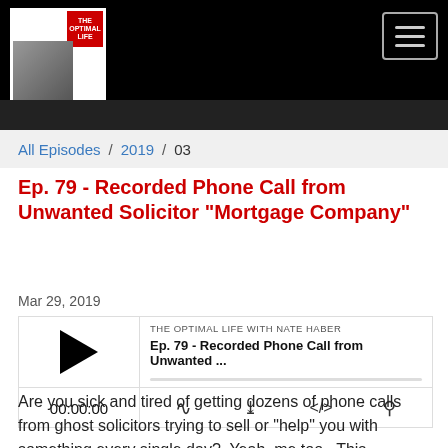[Figure (screenshot): Website header with black background, podcast logo on left (photo of bald man in suit with red badge), hamburger menu button on right]
All Episodes / 2019 / 03
Ep. 79 - Recorded Phone Call from Unwanted Solicitor "Mortgage Company"
[Figure (screenshot): Podcast player widget showing play button, episode title 'Ep. 79 - Recorded Phone Call from Unwanted ...' from THE OPTIMAL LIFE WITH NATE HABER, progress bar, time 00:00:00 and control icons]
Mar 29, 2019
Are you sick and tired of getting dozens of phone calls from ghost solicitors trying to sell or "help" you with something every single day?  Yeah, me too.  This company kept calling